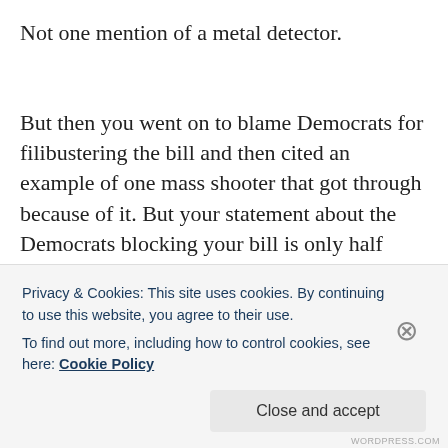Not one mention of a metal detector.
But then you went on to blame Democrats for filibustering the bill and then cited an example of one mass shooter that got through because of it. But your statement about the Democrats blocking your bill is only half true. I wanted to fact-check your statement because of how full of shit you tend to be. So, I found a PolitiFact article that explained it. And once again, as
Privacy & Cookies: This site uses cookies. By continuing to use this website, you agree to their use.
To find out more, including how to control cookies, see here: Cookie Policy
Close and accept